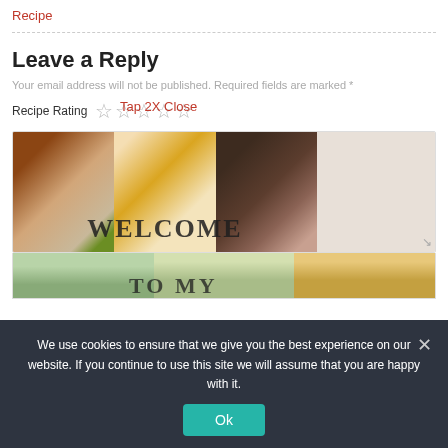Recipe
Leave a Reply
Your email address will not be published. Required fields are marked *
Recipe Rating ☆☆☆☆☆  Tap 2X Close
[Figure (photo): Food collage image with dishes and WELCOME text overlay]
[Figure (photo): Food collage partial image with TO MY text]
We use cookies to ensure that we give you the best experience on our website. If you continue to use this site we will assume that you are happy with it.
Ok